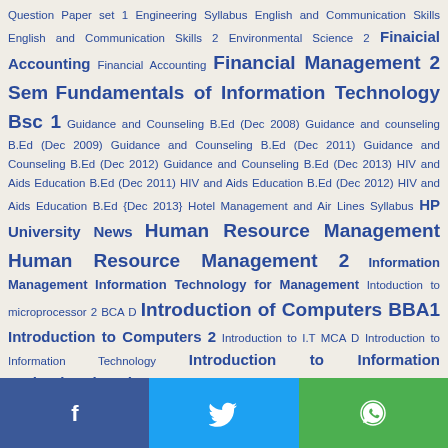Question Paper set 1 Engineering Syllabus English and Communication Skills English and Communication Skills 2 Environmental Science 2 Finaicial Accounting Financial Accounting Financial Management 2 Sem Fundamentals of Information Technology Bsc 1 Guidance and Counseling B.Ed (Dec 2008) Guidance and counseling B.Ed (Dec 2009) Guidance and Counseling B.Ed (Dec 2011) Guidance and Counseling B.Ed (Dec 2012) Guidance and Counseling B.Ed (Dec 2013) HIV and Aids Education B.Ed (Dec 2011) HIV and Aids Education B.Ed (Dec 2012) HIV and Aids Education B.Ed {Dec 2013} Hotel Management and Air Lines Syllabus HP University News Human Resource Management Human Resource Management 2 Information Management Information Technology for Management Intoduction to microprocessor 2 BCA D Introduction of Computers BBA1 Introduction to Computers 2 Introduction to I.T MCA D Introduction to Information Technology Introduction to Information Technology(BCA) Kurukshetra University News Lecture 20 Clipping – Lines And Polygons Macro Economics 2 Management Syllabus Managerial Economics Marketing Management 2 Master Of Technology M-Tech Syllabus MBA Papers MCA Notes MCA Question Papers Mercantile Law 2 Metal Cutting Question Paper Metal Forming Question Paper Micro Economics Network Security NEURAL NETWORKS & FUZZY LOGIC Object Oriented Programming in C++ Object Oriented Programming in Cpp OOP CPP 2 Operating system (BCA) Operating System Bsc IT 1 Organisational Behaviour Organization Behaviour 2 Other Universities Others Panjab University News PCM 2 BCA D PGDCA Pharmacy Syllabus
[Figure (other): Social media sharing footer bar with Facebook, Twitter, and WhatsApp icons]